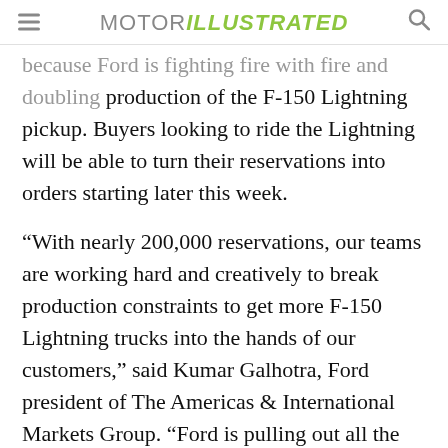MOTOR ILLUSTRATED
because Ford is fighting fire with fire and doubling production of the F-150 Lightning pickup. Buyers looking to ride the Lightning will be able to turn their reservations into orders starting later this week.
“With nearly 200,000 reservations, our teams are working hard and creatively to break production constraints to get more F-150 Lightning trucks into the hands of our customers,” said Kumar Galhotra, Ford president of The Americas & International Markets Group. “Ford is pulling out all the stops to scale our operations and increase production capacity.”